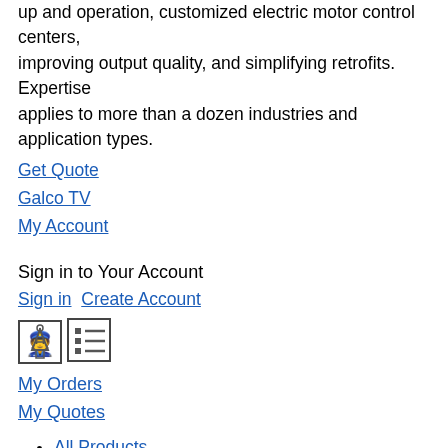up and operation, customized electric motor control centers, improving output quality, and simplifying retrofits. Expertise applies to more than a dozen industries and application types.
Get Quote
Galco TV
My Account
Sign in to Your Account
Sign in  Create Account
[Figure (other): Icon box with up-arrow person figure]
[Figure (other): Icon box with list/bullet lines]
My Orders
My Quotes
All Products
Mobern
Sort by [dropdown]
1 - 15 of 15 Matches
Show [dropdown] Items / Page
Selected Filters